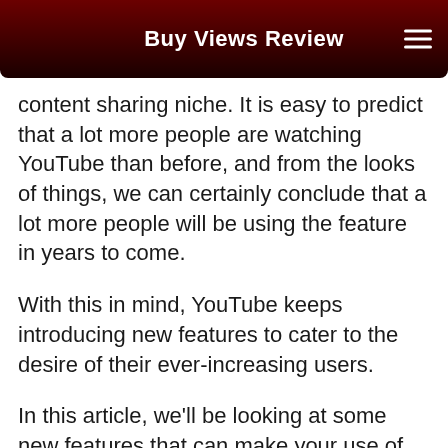Buy Views Review
content sharing niche. It is easy to predict that a lot more people are watching YouTube than before, and from the looks of things, we can certainly conclude that a lot more people will be using the feature in years to come.
With this in mind, YouTube keeps introducing new features to cater to the desire of their ever-increasing users.
In this article, we'll be looking at some new features that can make your use of